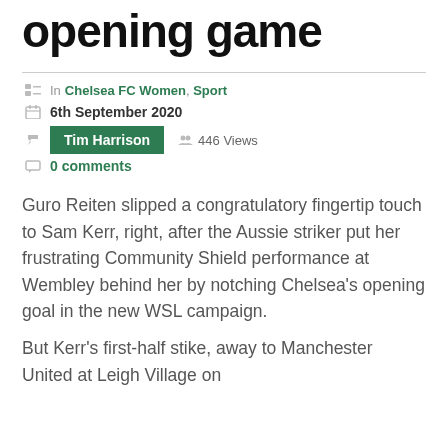opening game
In Chelsea FC Women, Sport
6th September 2020
Tim Harrison   446 Views
0 comments
Guro Reiten slipped a congratulatory fingertip touch to Sam Kerr, right, after the Aussie striker put her frustrating Community Shield performance at Wembley behind her by notching Chelsea's opening goal in the new WSL campaign.
But Kerr's first-half stike, away to Manchester United at Leigh Village on